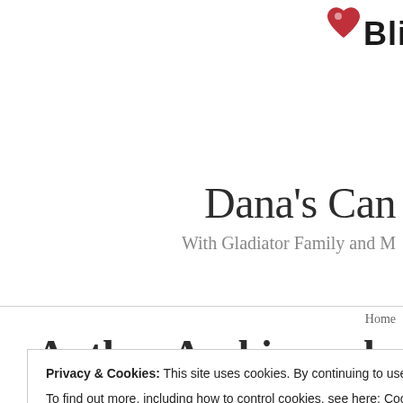[Figure (logo): Bliss logo with heart icon, partially cropped at top-right corner]
Dana's Can
With Gladiator Family and ...
Home
Author Archives: dmanci...
Privacy & Cookies: This site uses cookies. By continuing to use this website, you agree to their use.
To find out more, including how to control cookies, see here: Cookie Policy
Close and accept
Weekend... Lots of Dish...